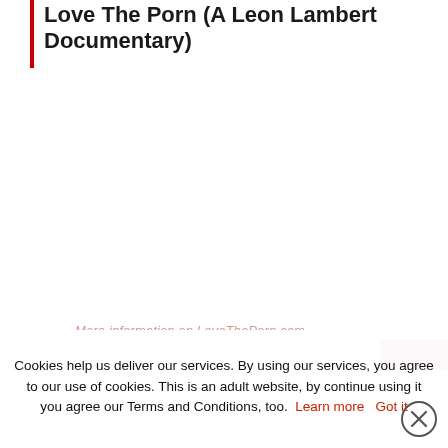Love The Porn (A Leon Lambert Documentary)
More information on LoveThePorn.com
Cookies help us deliver our services. By using our services, you agree to our use of cookies. This is an adult website, by continue using it you agree our Terms and Conditions, too. Learn more  Got it